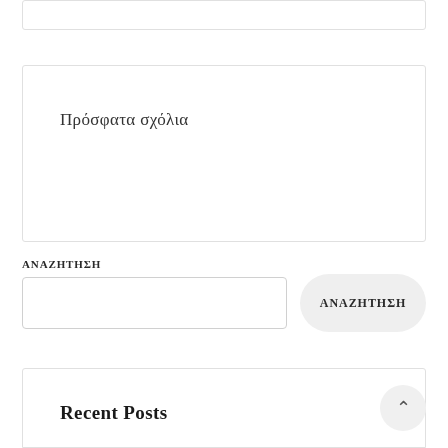Πρόσφατα σχόλια
ΑΝΑΖΗΤΗΣΗ
ΑΝΑΖΗΤΗΣΗ
Recent Posts